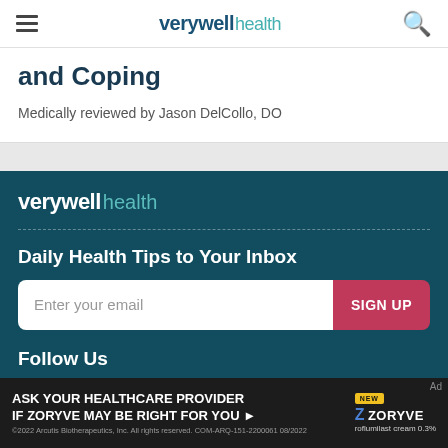verywell health
and Coping
Medically reviewed by Jason DelCollo, DO
[Figure (logo): Verywell Health logo in white and teal on dark teal background]
Daily Health Tips to Your Inbox
Enter your email  SIGN UP
Follow Us
[Figure (other): Social media icon circles (Facebook, Twitter, Pinterest, LinkedIn, and one more)]
ASK YOUR HEALTHCARE PROVIDER IF ZORYVE MAY BE RIGHT FOR YOU  ZORYVE roflumilast cream 0.3%
©2022 Arcutis Biotherapeutics, Inc. All rights reserved. COM-ARQ-151-2200061 08/2022